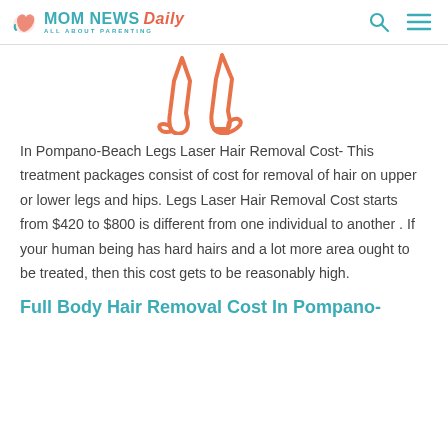MOM NEWS Daily — ALL ABOUT PARENTING
[Figure (illustration): Line illustration of two human legs/feet in coral/salmon color, outline style]
In Pompano-Beach Legs Laser Hair Removal Cost- This treatment packages consist of cost for removal of hair on upper or lower legs and hips. Legs Laser Hair Removal Cost starts from $420 to $800 is different from one individual to another . If your human being has hard hairs and a lot more area ought to be treated, then this cost gets to be reasonably high.
Full Body Hair Removal Cost In Pompano-